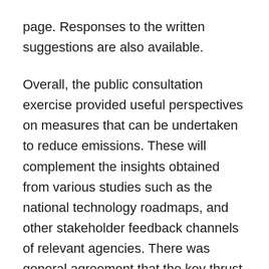page. Responses to the written suggestions are also available.
Overall, the public consultation exercise provided useful perspectives on measures that can be undertaken to reduce emissions. These will complement the insights obtained from various studies such as the national technology roadmaps, and other stakeholder feedback channels of relevant agencies. There was general agreement that the key thrust of Singapore's strategy to mitigate our emissions will continue to be improving energy efficiency